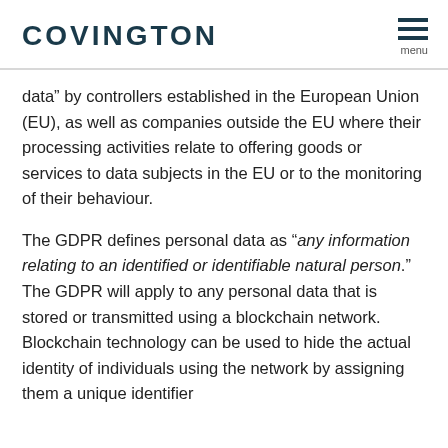COVINGTON
data” by controllers established in the European Union (EU), as well as companies outside the EU where their processing activities relate to offering goods or services to data subjects in the EU or to the monitoring of their behaviour.
The GDPR defines personal data as “any information relating to an identified or identifiable natural person.”  The GDPR will apply to any personal data that is stored or transmitted using a blockchain network.  Blockchain technology can be used to hide the actual identity of individuals using the network by assigning them a unique identifier